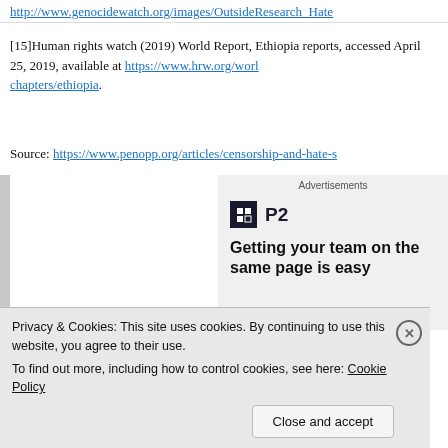http://www.genocidewatch.org/images/OutsideResearch_Hate
[15]Human rights watch (2019) World Report, Ethiopia reports, accessed April 25, 2019, available at https://www.hrw.org/world-report/2019/country-chapters/ethiopia.
Source: https://www.penopp.org/articles/censorship-and-hate-s
[Figure (screenshot): Advertisement banner with P2 logo and text 'Getting your team on the same page is easy']
Privacy & Cookies: This site uses cookies. By continuing to use this website, you agree to their use.
To find out more, including how to control cookies, see here: Cookie Policy
Close and accept